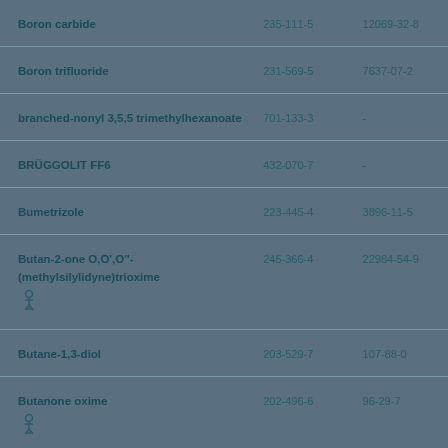| Name | EC No. | CAS No. |
| --- | --- | --- |
| Boron carbide | 235-111-5 | 12069-32-8 |
| Boron trifluoride | 231-569-5 | 7637-07-2 |
| branched-nonyl 3,5,5 trimethylhexanoate | 701-133-3 | - |
| BRÜGGOLIT FF6 | 432-070-7 | - |
| Bumetrizole | 223-445-4 | 3896-11-5 |
| Butan-2-one O,O',O''-(methylsilylidyne)trioxime | 245-366-4 | 22984-54-9 |
| Butane-1,3-diol | 203-529-7 | 107-88-0 |
| Butanone oxime | 202-496-6 | 96-29-7 |